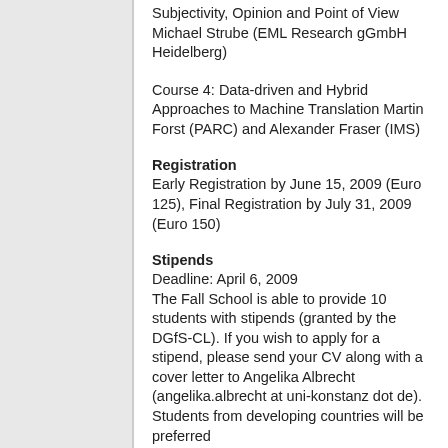Subjectivity, Opinion and Point of View
Michael Strube (EML Research gGmbH Heidelberg)
Course 4: Data-driven and Hybrid Approaches to Machine Translation
Martin Forst (PARC) and Alexander Fraser (IMS)
Registration
Early Registration by June 15, 2009 (Euro 125), Final Registration by July 31, 2009 (Euro 150)
Stipends
Deadline: April 6, 2009
The Fall School is able to provide 10 students with stipends (granted by the DGfS-CL). If you wish to apply for a stipend, please send your CV along with a cover letter to Angelika Albrecht (angelika.albrecht at uni-konstanz dot de). Students from developing countries will be preferred